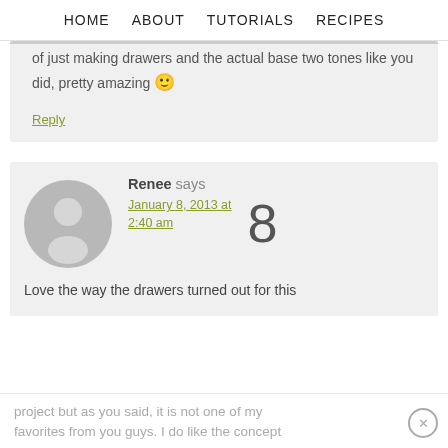HOME  ABOUT  TUTORIALS  RECIPES
of just making drawers and the actual base two tones like you did, pretty amazing 🙂
Reply
Renee says January 8, 2013 at 2:40 am
Love the way the drawers turned out for this project but as you said, it is not one of my favorites from you guys. I do like the concept
project but as you said, it is not one of my favorites from you guys. I do like the concept